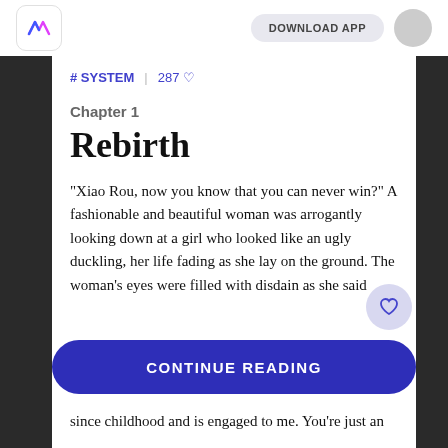DOWNLOAD APP
# SYSTEM | 287 ♡
Chapter 1
Rebirth
"Xiao Rou, now you know that you can never win?" A fashionable and beautiful woman was arrogantly looking down at a girl who looked like an ugly duckling, her life fading as she lay on the ground. The woman's eyes were filled with disdain as she said
since childhood and is engaged to me. You're just an